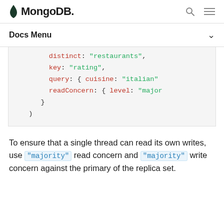MongoDB
Docs Menu
distinct: "restaurants",
        key: "rating",
        query: { cuisine: "italian"
        readConcern: { level: "major
      }
   )
To ensure that a single thread can read its own writes, use "majority" read concern and "majority" write concern against the primary of the replica set.